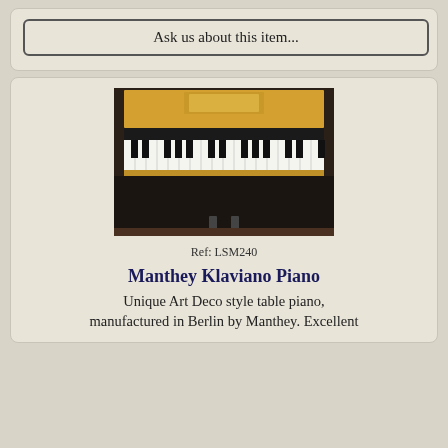Ask us about this item...
[Figure (photo): Photograph of a Manthey Klaviano Piano showing keyboard and wooden body from above-front angle]
Ref: LSM240
Manthey Klaviano Piano
Unique Art Deco style table piano, manufactured in Berlin by Manthey. Excellent